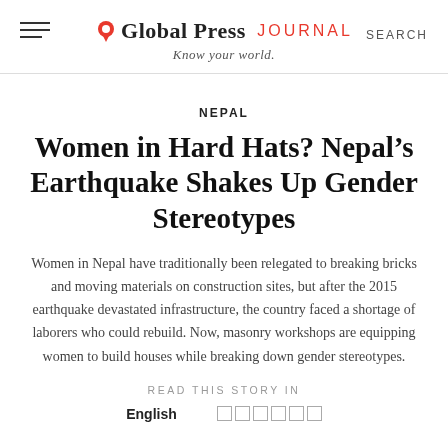Global Press JOURNAL — Know your world.
NEPAL
Women in Hard Hats? Nepal's Earthquake Shakes Up Gender Stereotypes
Women in Nepal have traditionally been relegated to breaking bricks and moving materials on construction sites, but after the 2015 earthquake devastated infrastructure, the country faced a shortage of laborers who could rebuild. Now, masonry workshops are equipping women to build houses while breaking down gender stereotypes.
READ THIS STORY IN
English